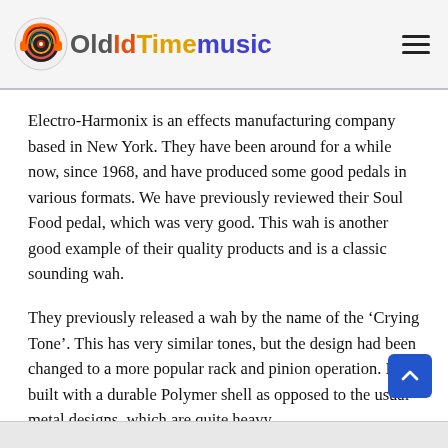OldTimemusic
Electro-Harmonix is an effects manufacturing company based in New York. They have been around for a while now, since 1968, and have produced some good pedals in various formats. We have previously reviewed their Soul Food pedal, which was very good. This wah is another good example of their quality products and is a classic sounding wah.
They previously released a wah by the name of the ‘Crying Tone’. This has very similar tones, but the design had been changed to a more popular rack and pinion operation. It is built with a durable Polymer shell as opposed to the usual metal designs, which are quite heavy.